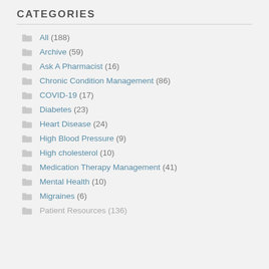CATEGORIES
All (188)
Archive (59)
Ask A Pharmacist (16)
Chronic Condition Management (86)
COVID-19 (17)
Diabetes (23)
Heart Disease (24)
High Blood Pressure (9)
High cholesterol (10)
Medication Therapy Management (41)
Mental Health (10)
Migraines (6)
Patient Resources (136)